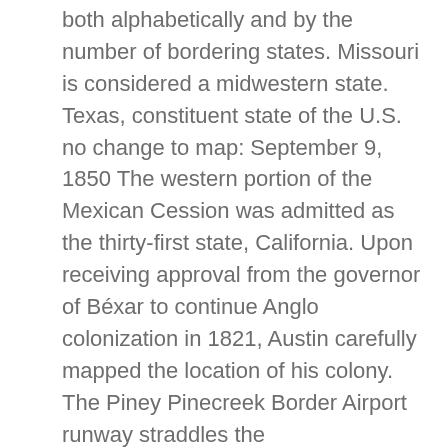both alphabetically and by the number of bordering states. Missouri is considered a midwestern state. Texas, constituent state of the U.S. no change to map: September 9, 1850 The western portion of the Mexican Cession was admitted as the thirty-first state, California. Upon receiving approval from the governor of Béxar to continue Anglo colonization in 1821, Austin carefully mapped the location of his colony. The Piney Pinecreek Border Airport runway straddles the Canadaâ       U.S. The population of this city is 1,257,676 and the weather of Dallas is mostly light rain â   ¦ Sanchezj6190 Sanchezj6190 09/22/2017 History High School +5 pts. ____ 8. Through the cartographic resources of the Texas General Land Office and the personal collection of Frank and Carol Holcomb of Houston, Connecting Texas: 300 Years of Trails, Rails, and Roads invites you to learn about how Texas and Texans have